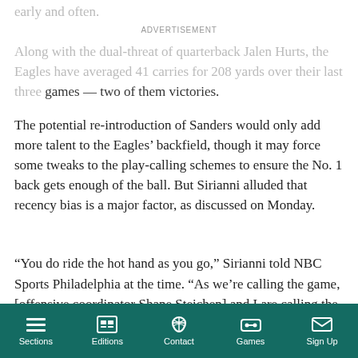early and often.
ADVERTISEMENT
Along with the dual-threat of quarterback Jalen Hurts, the Eagles have averaged 41 carries for 208 yards over their last three games — two of them victories.
The potential re-introduction of Sanders would only add more talent to the Eagles' backfield, though it may force some tweaks to the play-calling schemes to ensure the No. 1 back gets enough of the ball. But Sirianni alluded that recency bias is a major factor, as discussed on Monday.
“You do ride the hot hand as you go,” Sirianni told NBC Sports Philadelphia at the time. “As we’re calling the game, [offensive coordinator Shane Steichen] and I are calling the game and going
Sections  Editions  Contact  Games  Sign Up